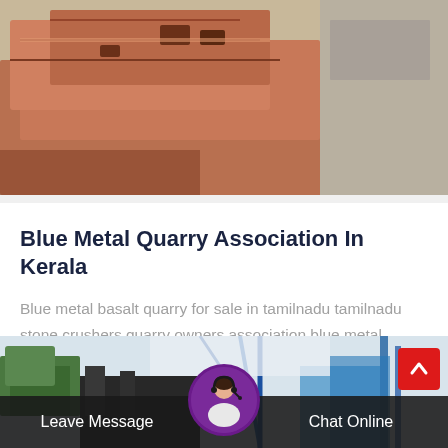[Figure (photo): Rusty metal quarry equipment or metal stone pieces stacked together, brownish-red color]
Blue Metal Quarry Association In Kerala
Blue metal basalt quarry for sale in tamilnadu tamilnadu stone crushers quarry owners association blue metal quarry licence...
[Figure (photo): Industrial quarry or construction site scene with machinery, blue metal structures and trees in background]
Leave Message
Chat Online